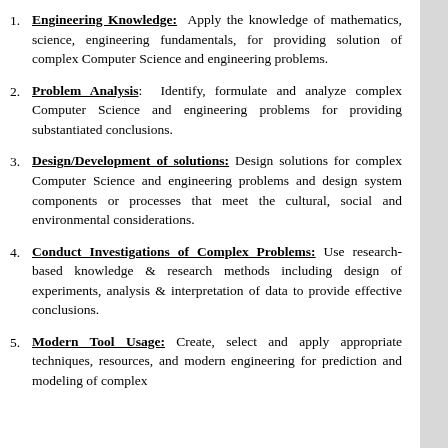Engineering Knowledge: Apply the knowledge of mathematics, science, engineering fundamentals, for providing solution of complex Computer Science and engineering problems.
Problem Analysis: Identify, formulate and analyze complex Computer Science and engineering problems for providing substantiated conclusions.
Design/Development of solutions: Design solutions for complex Computer Science and engineering problems and design system components or processes that meet the cultural, social and environmental considerations.
Conduct Investigations of Complex Problems: Use research- based knowledge & research methods including design of experiments, analysis & interpretation of data to provide effective conclusions.
Modern Tool Usage: Create, select and apply appropriate techniques, resources, and modern engineering for prediction and modeling of complex